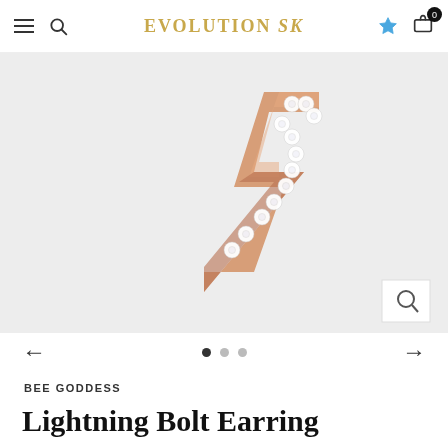EVOLUTION SK
[Figure (photo): Close-up of a rose gold lightning bolt earring with diamond/crystal pavé stones set along the bolt shape, photographed against a light grey background.]
BEE GODDESS
Lightning Bolt Earring